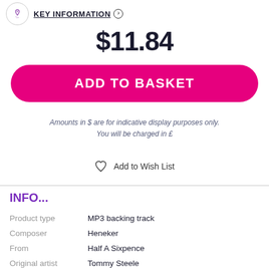KEY INFORMATION
$11.84
ADD TO BASKET
Amounts in $ are for indicative display purposes only. You will be charged in £
Add to Wish List
INFO...
|  |  |
| --- | --- |
| Product type | MP3 backing track |
| Composer | Heneker |
| From | Half A Sixpence |
| Original artist | Tommy Steele |
| Based on | Film soundtrack recording |